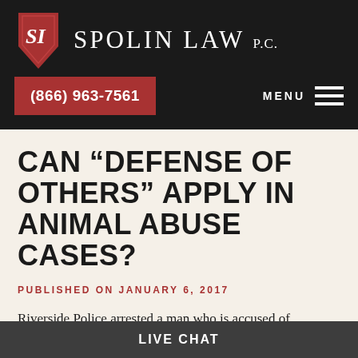[Figure (logo): Spolin Law P.C. logo with red shield and SL monogram, white firm name text on dark background]
(866) 963-7561  MENU
CAN “DEFENSE OF OTHERS” APPLY IN ANIMAL ABUSE CASES?
PUBLISHED ON JANUARY 6, 2017
Riverside Police arrested a man who is accused of
LIVE CHAT